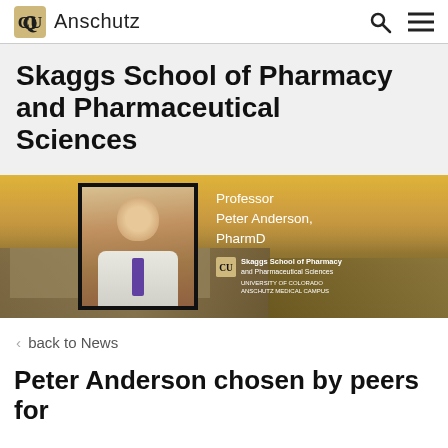CU Anschutz
Skaggs School of Pharmacy and Pharmaceutical Sciences
[Figure (photo): Hero banner with aerial campus photo background and framed portrait of Professor Peter Anderson, PharmD, with Skaggs School of Pharmacy and Pharmaceutical Sciences logo and text overlay]
< back to News
Peter Anderson chosen by peers for